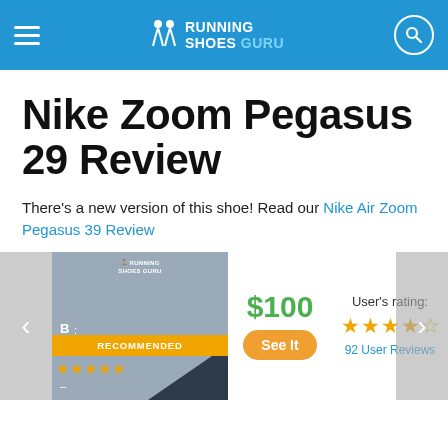Running Shoes Guru
Nike Zoom Pegasus 29 Review
There's a new version of this shoe! Read our Nike Air Zoom Pegasus 39 Review
[Figure (screenshot): Product card showing RECOMMENDED badge with star ratings, price $100 with See It button, User's rating with 4 stars and 92 User Reviews]